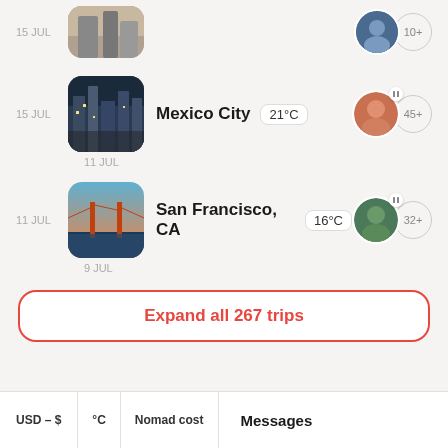15 JUL
[Figure (photo): Partial city street photo thumbnail at top of page]
15 JUL
[Figure (photo): Mexico City street photo thumbnail]
Mexico City  21°C
11 JUL
11 JUL
[Figure (photo): San Francisco Golden Gate Bridge photo thumbnail]
San Francisco, CA  16°C
9 JUL
Expand all 267 trips
Messages
USD – $
°C
Nomad cost